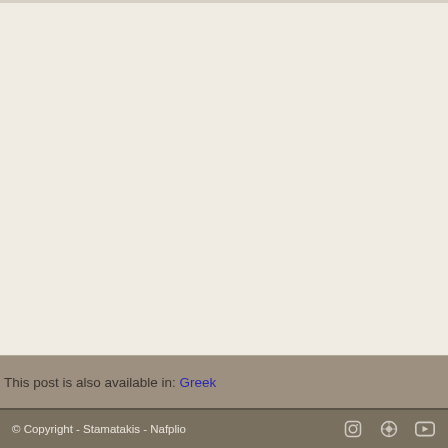[Figure (photo): Large mostly blank/white content area with very faint watermark or image impression visible]
This post is also available in: Greek
© Copyright - Stamatakis - Nafplio